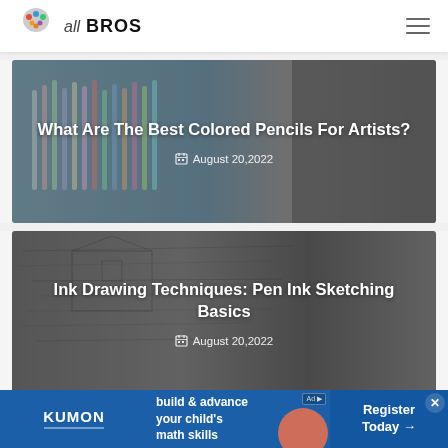all BROS
[Figure (photo): Article card with colored pencils in jars photo background, overlaid with white text title and date]
What Are The Best Colored Pencils For Artists?
August 20,2022
[Figure (photo): Article card with ink sketch drawing photo background, overlaid with white text title and date]
Ink Drawing Techniques: Pen Ink Sketching Basics
August 20,2022
[Figure (infographic): Kumon advertisement banner: build & advance your child's math skills. Register Today arrow.]